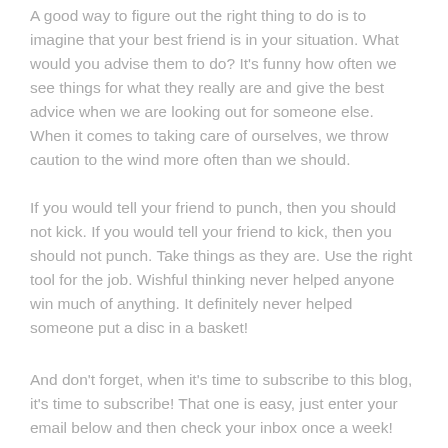A good way to figure out the right thing to do is to imagine that your best friend is in your situation.  What would you advise them to do?  It's funny how often we see things for what they really are and give the best advice when we are looking out for someone else.  When it comes to taking care of ourselves, we throw caution to the wind more often than we should.
If you would tell your friend to punch, then you should not kick.  If you would tell your friend to kick, then you should not punch.  Take things as they are.  Use the right tool for the job.  Wishful thinking never helped anyone win much of anything.  It definitely never helped someone put a disc in a basket!
And don't forget, when it's time to subscribe to this blog, it's time to subscribe!  That one is easy, just enter your email below and then check your inbox once a week!